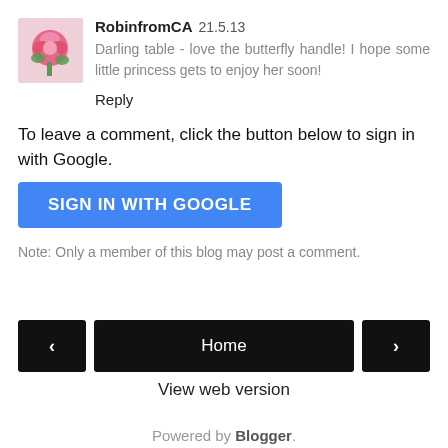[Figure (photo): Avatar image of a pink rose flower]
RobinfromCA 21.5.13
Darling table - love the butterfly handle! I hope some little princess gets to enjoy her soon!
Reply
To leave a comment, click the button below to sign in with Google.
SIGN IN WITH GOOGLE
Note: Only a member of this blog may post a comment.
Home
View web version
Powered by Blogger.